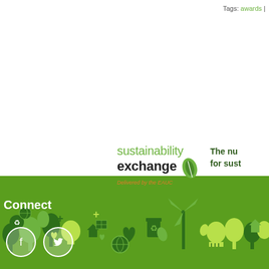Tags: awards
[Figure (logo): Sustainability Exchange logo — 'sustainability' in green, 'exchange' in black bold, leaf graphic, 'Delivered by the EAUC' in orange italic]
The nu for sust
[Figure (illustration): Sustainability themed icon cityscape with green eco icons — recycling, wind turbines, trees, lightbulbs, hands, hearts, buildings, solar panels, globes in dark green and lime green]
Connect
[Figure (other): Social media circular icon buttons (Facebook, Twitter) in white circles on green background]